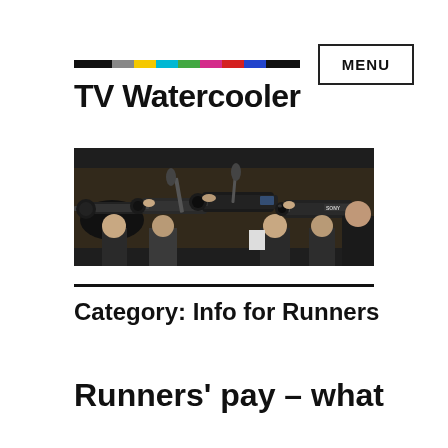TV Watercooler
[Figure (photo): Group of television camera operators and journalists with large professional video cameras, photographed in a press pack or media scrum setting, dark indoor environment]
Category: Info for Runners
Runners' pay – what